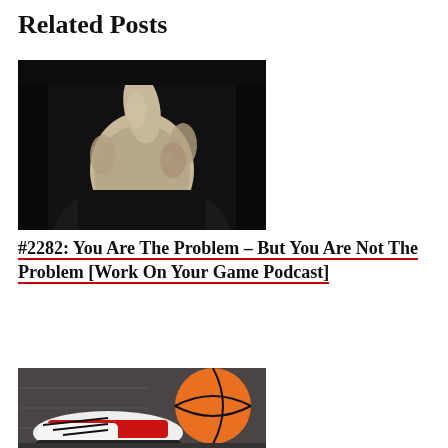Related Posts
[Figure (photo): Black and white photo of a person pointing finger toward the camera against a dark background]
#2282: You Are The Problem – But You Are Not The Problem [Work On Your Game Podcast]
[Figure (photo): Photo of basketball sneakers with red accents next to an orange basketball on a court floor]